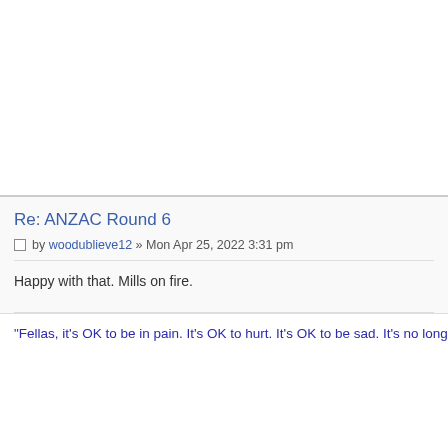Re: ANZAC Round 6
by woodublieve12 » Mon Apr 25, 2022 3:31 pm
Happy with that. Mills on fire.
"Fellas, it's OK to be in pain. It's OK to hurt. It's OK to be sad. It's no longer OK